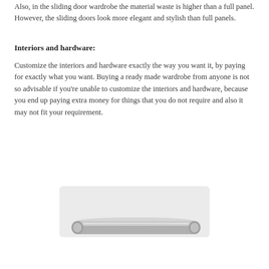Also, in the sliding door wardrobe the material waste is higher than a full panel. However, the sliding doors look more elegant and stylish than full panels.
Interiors and hardware:
Customize the interiors and hardware exactly the way you want it, by paying for exactly what you want. Buying a ready made wardrobe from anyone is not so advisable if you're unable to customize the interiors and hardware, because you end up paying extra money for things that you do not require and also it may not fit your requirement.
[Figure (photo): A close-up photo of a metallic wardrobe handle or rail hardware component, partially visible at the bottom of the image frame, against a light grey rounded rectangle background.]